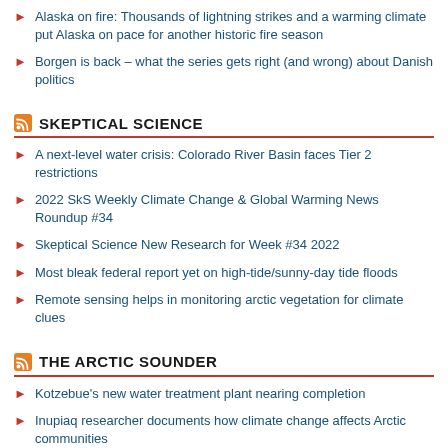Alaska on fire: Thousands of lightning strikes and a warming climate put Alaska on pace for another historic fire season
Borgen is back – what the series gets right (and wrong) about Danish politics
SKEPTICAL SCIENCE
A next-level water crisis: Colorado River Basin faces Tier 2 restrictions
2022 SkS Weekly Climate Change & Global Warming News Roundup #34
Skeptical Science New Research for Week #34 2022
Most bleak federal report yet on high-tide/sunny-day tide floods
Remote sensing helps in monitoring arctic vegetation for climate clues
THE ARCTIC SOUNDER
Kotzebue's new water treatment plant nearing completion
Inupiaq researcher documents how climate change affects Arctic communities
Alaska Native linguists create digital Inupiaq dictionary